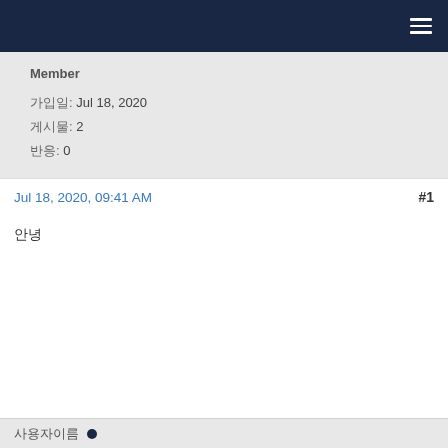Member
가입일: Jul 18, 2020
게시물: 2
반응: 0
Jul 18, 2020, 09:41 AM  #1
안녕
사용자이름 ●